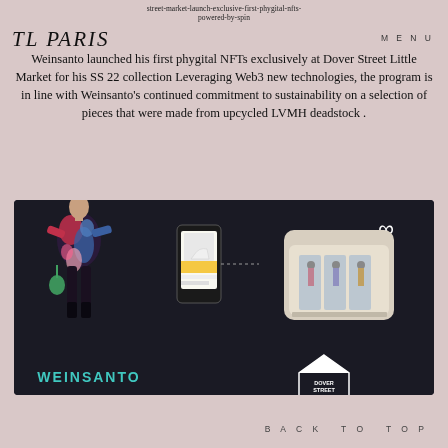street-market-launch-exclusive-first-phygital-nfts-powered-by-spin
TL PARIS
MENU
Weinsanto launched his first phygital NFTs exclusively at Dover Street Little Market for his SS 22 collection Leveraging Web3 new technologies, the program is in line with Weinsanto's continued commitment to sustainability on a selection of pieces that were made from upcycled LVMH deadstock .
[Figure (photo): Dark background promotional image showing a model wearing a colorful floral outfit on the left, a smartphone in the center showing a high heel shoe on an app interface, and a store front (Dover Street Market) on the right. WEINSANTO branding in teal at bottom left, Dover Street Market house logo at bottom center-right.]
BACK TO TOP